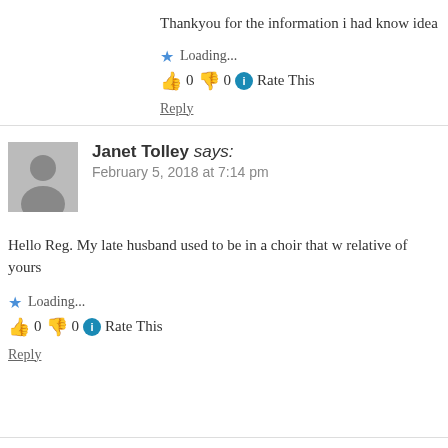Thankyou for the information i had know idea
Loading...
👍 0 👎 0 ℹ Rate This
Reply
Janet Tolley says: February 5, 2018 at 7:14 pm
Hello Reg. My late husband used to be in a choir that w relative of yours
Loading...
👍 0 👎 0 ℹ Rate This
Reply